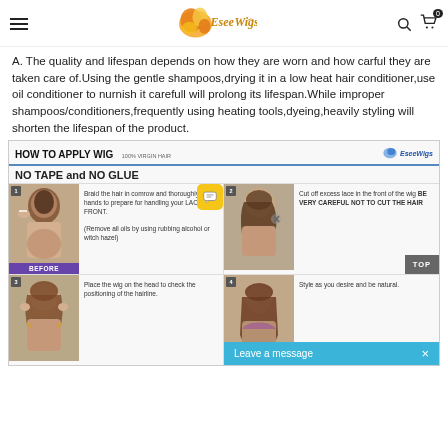EseeWigs logo header with navigation
A. The quality and lifespan depends on how they are worn and how carful they are taken care of.Using the gentle shampoos,drying it in a low heat hair conditioner,use oil conditioner to nurnish it carefull will prolong its lifespan.While improper shampoos/conditioners,frequently using heating tools,dyeing,heavily styling will shorten the lifespan of the product.
[Figure (infographic): HOW TO APPLY WIG infographic showing 4 steps: 1) Braid hair in cornrow and wash hands to prepare for LACE FRONT (BEFORE label), 2) Cut off excess lace in the front of the wig BE VERY CAREFUL NOT TO CUT THE HAIR, 3) Place the wig on the head to check the positioning of the hairline, 4) Style as you desire and be natural. NO TAPE and NO GLUE. 100% VIRGIN HAIR.]